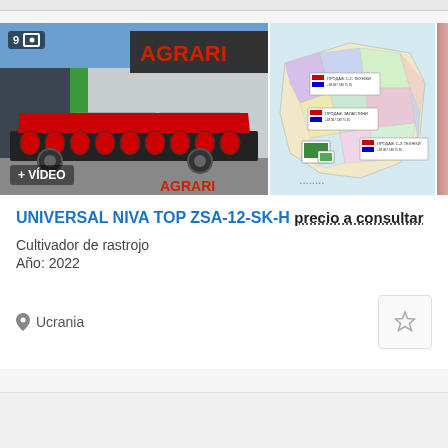[Figure (photo): Product listing card with two photos: left shows red farm machinery/cultivator in front of a building with AGRARIA signage, right shows a map of Ukraine with dealer locations]
UNIVERSAL NIVA TOP ZSA-12-SK-H
precio a consultar
Cultivador de rastrojo
Año: 2022
Ucrania